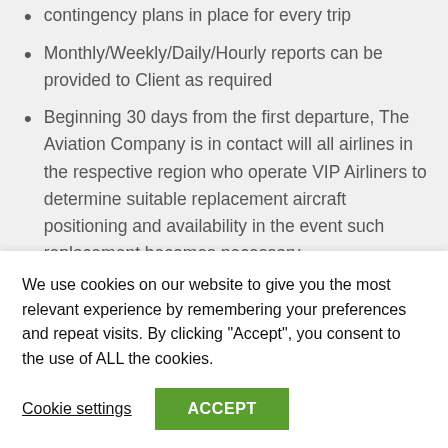contingency plans in place for every trip
Monthly/Weekly/Daily/Hourly reports can be provided to Client as required
Beginning 30 days from the first departure, The Aviation Company is in contact will all airlines in the respective region who operate VIP Airliners to determine suitable replacement aircraft positioning and availability in the event such replacement becomes necessary.
From 7-days prior to the first departure, The Aviation Company is in contact with all secondary
We use cookies on our website to give you the most relevant experience by remembering your preferences and repeat visits. By clicking “Accept”, you consent to the use of ALL the cookies.
Cookie settings
ACCEPT